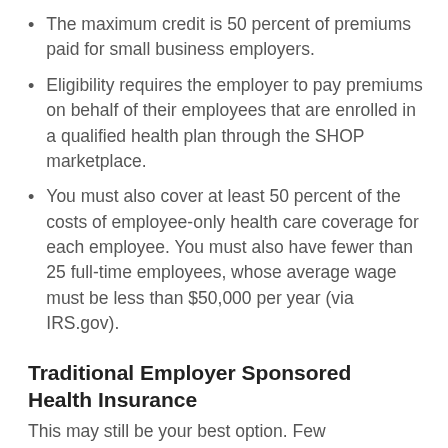The maximum credit is 50 percent of premiums paid for small business employers.
Eligibility requires the employer to pay premiums on behalf of their employees that are enrolled in a qualified health plan through the SHOP marketplace.
You must also cover at least 50 percent of the costs of employee-only health care coverage for each employee. You must also have fewer than 25 full-time employees, whose average wage must be less than $50,000 per year (via IRS.gov).
Traditional Employer Sponsored Health Insurance
This may still be your best option. Few